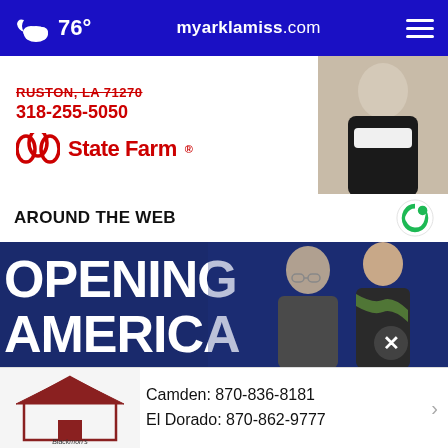76° myarklamiss.com
[Figure (photo): State Farm advertisement with address RUSTON, LA 71270, phone 318-255-5050, State Farm logo, and a man in a dark suit on the right]
AROUND THE WEB
[Figure (photo): News photo showing two people (Dr. Fauci and a woman) in front of a blue banner reading OPENING AMERICA]
[Figure (photo): Blackmon's Furniture & Appliances advertisement with Camden: 870-836-8181 and El Dorado: 870-862-9777]